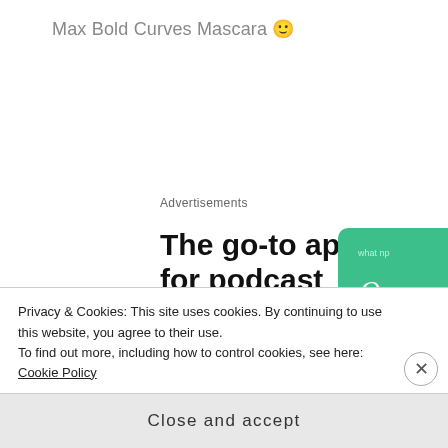Max Bold Curves Mascara 🙂
Advertisements
[Figure (advertisement): Podcast app advertisement showing 'The go-to app for podcast lovers.' with a 'Download now' call-to-action in red, and floating podcast album art cards including '99% Invisible' on a dark background and other colored cards]
Privacy & Cookies: This site uses cookies. By continuing to use this website, you agree to their use.
To find out more, including how to control cookies, see here: Cookie Policy
Close and accept